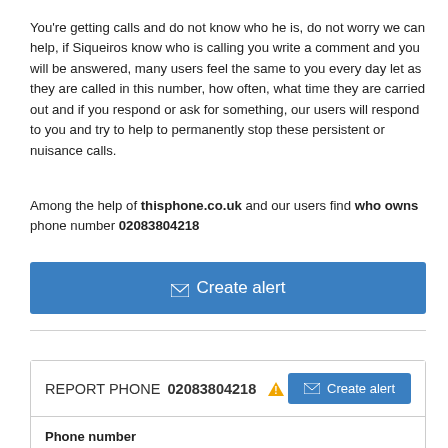You're getting calls and do not know who he is, do not worry we can help, if Siqueiros know who is calling you write a comment and you will be answered, many users feel the same to you every day let as they are called in this number, how often, what time they are carried out and if you respond or ask for something, our users will respond to you and try to help to permanently stop these persistent or nuisance calls.
Among the help of thisphone.co.uk and our users find who owns phone number 02083804218
[Figure (other): Blue button labeled '✉ Create alert']
| REPORT PHONE 02083804218 ⚠ | ✉ Create alert |
| Phone number |  |
| 02083804218 |  |